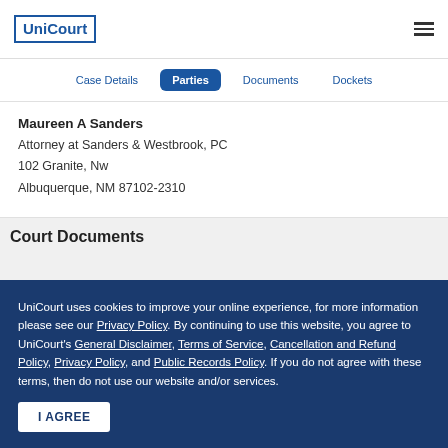UniCourt
Case Details  Parties  Documents  Dockets
Maureen A Sanders
Attorney at Sanders & Westbrook, PC
102 Granite, Nw
Albuquerque, NM 87102-2310
Court Documents
UniCourt uses cookies to improve your online experience, for more information please see our Privacy Policy. By continuing to use this website, you agree to UniCourt's General Disclaimer, Terms of Service, Cancellation and Refund Policy, Privacy Policy, and Public Records Policy. If you do not agree with these terms, then do not use our website and/or services.
I AGREE